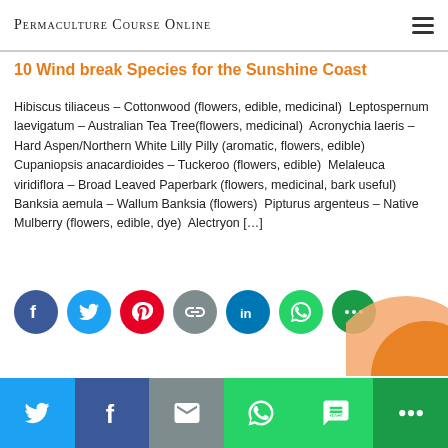Permaculture Course Online
10 Wind break Species for the Sunshine Coast
Hibiscus tiliaceus – Cottonwood (flowers, edible, medicinal)  Leptospernum laevigatum – Australian Tea Tree(flowers, medicinal)  Acronychia laeris – Hard Aspen/Northern White Lilly Pilly (aromatic, flowers, edible)  Cupaniopsis anacardioides – Tuckeroo (flowers, edible)  Melaleuca viridiflora – Broad Leaved Paperbark (flowers, medicinal, bark useful)  Banksia aemula – Wallum Banksia (flowers)  Pipturus argenteus – Native Mulberry (flowers, edible, dye)  Alectryon […]
[Figure (infographic): Social media share icons: Facebook (blue), Twitter (teal), Pinterest (red), Link/Copy (grey), LinkedIn (blue), WhatsApp (green), More (green)]
[Figure (infographic): Bottom share bar with Twitter, Facebook, Email, WhatsApp, SMS, More buttons]